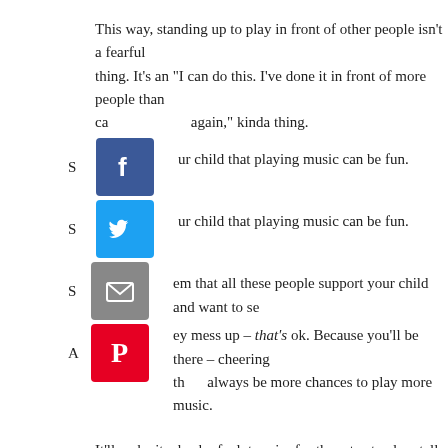This way, standing up to play in front of other people isn't a fearful thing. It's an "I can do this. I've done it in front of more people than ca again," kinda thing.
S ur child that playing music can be fun.
S em that all these people support your child and want to se
A ey mess up – that's ok. Because you'll be there – cheering th always be more chances to play more music.
It'll make it a heck of a lot easier for them to stand up tall on that s beautifully when recital day rolls around.
And anything that makes it easier, and makes them feel better is a
How do you make your child feel more confident before their the comments below!